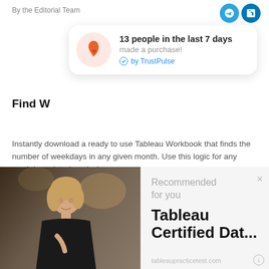By the Editorial Team
[Figure (infographic): Notification popup: '13 people in the last 7 days made a purchase! by TrustPulse' with flame icon on pink circle background]
Find W
Instantly download a ready to use Tableau Workbook that finds the number of weekdays in any given month. Use this logic for any weekday related analysis.
Download Tableau .twbx File
[Figure (photo): Photo of a smiling blonde woman in a black top, in an indoor corridor/hallway setting]
Recommended for you
Tableau Certified Dat...
tableaupracticetest.com